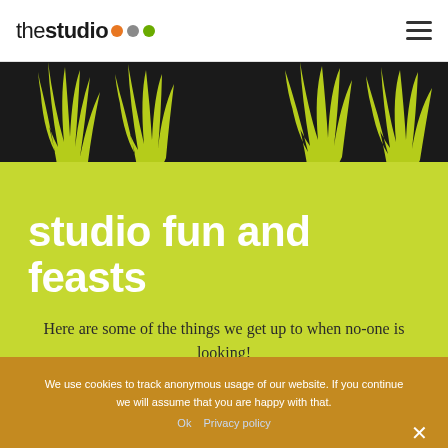thestudio
[Figure (illustration): Dark background with stylized yellow-green grass silhouettes decorating the top banner area]
studio fun and feasts
Here are some of the things we get up to when no-one is looking!
We use cookies to track anonymous usage of our website. If you continue we will assume that you are happy with that.
Ok  Privacy policy